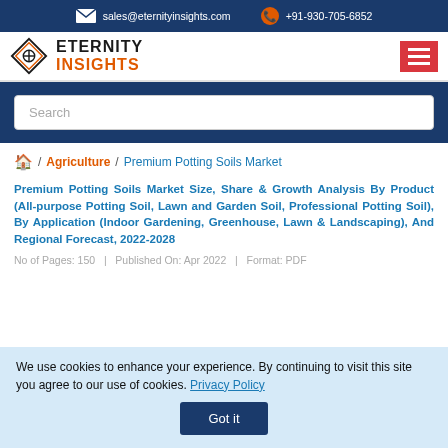sales@eternityinsights.com  |  +91-930-705-6852
[Figure (logo): Eternity Insights logo with diamond shape icon and text ETERNITY INSIGHTS]
Search
🏠 / Agriculture / Premium Potting Soils Market
Premium Potting Soils Market Size, Share & Growth Analysis By Product (All-purpose Potting Soil, Lawn and Garden Soil, Professional Potting Soil), By Application (Indoor Gardening, Greenhouse, Lawn & Landscaping), And Regional Forecast, 2022-2028
No of Pages: 150   |   Published On: Apr 2022   |   Format: PDF
We use cookies to enhance your experience. By continuing to visit this site you agree to our use of cookies. Privacy Policy